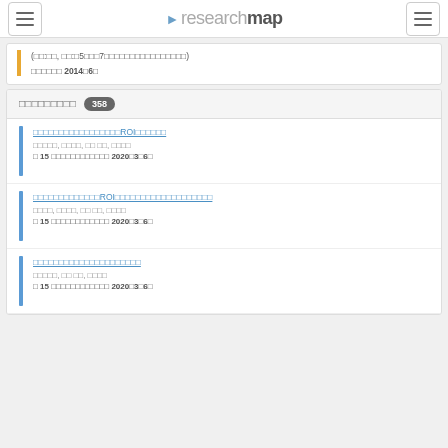researchmap
(□□:□□, □□:□5□□□7□□□□□□□□□□□□□□□□□□)
□□□□□□ 2014□6□
□□□□□□□□□ 358
□□□□□□□□□□□□□□□□□ROI□□□□□□□
□□□□□, □□□□, □□ □□, □□□□
□ 15 □□□□□□□□□□□□ 2020□3□6□
□□□□□□□□□□□□□ROI□□□□□□□□□□□□□□□□□□□□
□□□□, □□□□, □□ □□, □□□□
□ 15 □□□□□□□□□□□□ 2020□3□6□
□□□□□□□□□□□□□□□□□□□□□
□□□□□, □□ □□, □□□□
□ 15 □□□□□□□□□□□□ 2020□3□6□